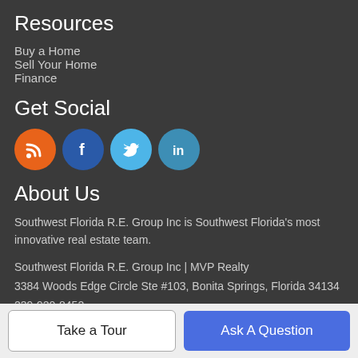Resources
Buy a Home
Sell Your Home
Finance
Get Social
[Figure (infographic): Four social media icons: RSS (orange), Facebook (dark blue), Twitter (light blue), LinkedIn (teal blue)]
About Us
Southwest Florida R.E. Group Inc is Southwest Florida's most innovative real estate team.
Southwest Florida R.E. Group Inc | MVP Realty
3384 Woods Edge Circle Ste #103, Bonita Springs, Florida 34134
239-920-8452
Take a Tour | Ask A Question